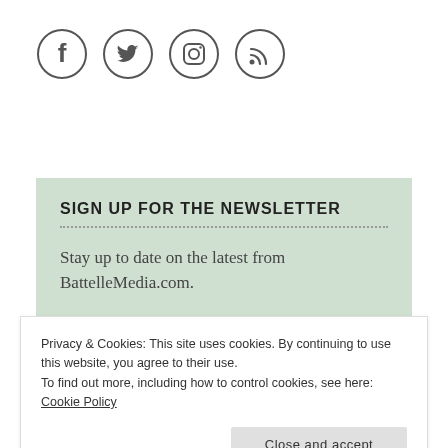[Figure (illustration): Four social media icons in circles: Facebook, Twitter, Instagram, RSS feed]
SIGN UP FOR THE NEWSLETTER
Stay up to date on the latest from BattelleMedia.com.
Privacy & Cookies: This site uses cookies. By continuing to use this website, you agree to their use.
To find out more, including how to control cookies, see here: Cookie Policy
Close and accept